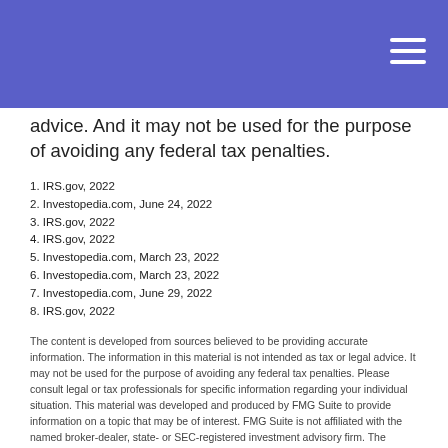advice. And it may not be used for the purpose of avoiding any federal tax penalties.
1. IRS.gov, 2022
2. Investopedia.com, June 24, 2022
3. IRS.gov, 2022
4. IRS.gov, 2022
5. Investopedia.com, March 23, 2022
6. Investopedia.com, March 23, 2022
7. Investopedia.com, June 29, 2022
8. IRS.gov, 2022
The content is developed from sources believed to be providing accurate information. The information in this material is not intended as tax or legal advice. It may not be used for the purpose of avoiding any federal tax penalties. Please consult legal or tax professionals for specific information regarding your individual situation. This material was developed and produced by FMG Suite to provide information on a topic that may be of interest. FMG Suite is not affiliated with the named broker-dealer, state- or SEC-registered investment advisory firm. The opinions expressed and material provided are for general information, and should not be considered a solicitation for the purchase or sale of any security. Copyright 2022 FMG Suite.